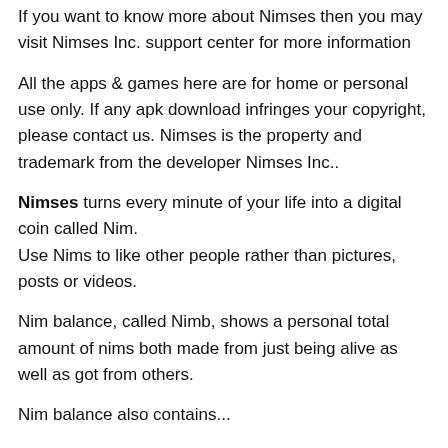If you want to know more about Nimses then you may visit Nimses Inc. support center for more information
All the apps & games here are for home or personal use only. If any apk download infringes your copyright, please contact us. Nimses is the property and trademark from the developer Nimses Inc..
Nimses turns every minute of your life into a digital coin called Nim.
Use Nims to like other people rather than pictures, posts or videos.
Nim balance, called Nimb, shows a personal total amount of nims both made from just being alive as well as got from others.
Nim balance also contains...